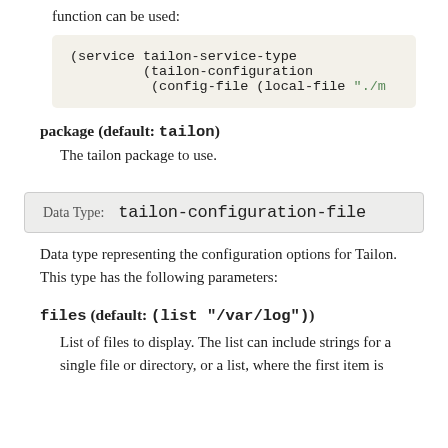function can be used:
(service tailon-service-type
         (tailon-configuration
          (config-file (local-file "./m
package (default: tailon)
The tailon package to use.
Data Type: tailon-configuration-file
Data type representing the configuration options for Tailon. This type has the following parameters:
files (default: (list "/var/log"))
List of files to display. The list can include strings for a single file or directory, or a list, where the first item is